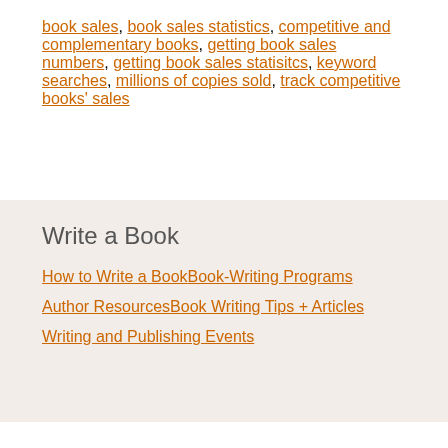books, book proposal hints, book proposal secrets, book sales, book sales statistics, competitive and complementary books, getting book sales numbers, getting book sales statisitcs, keyword searches, millions of copies sold, track competitive books' sales
Write a Book
How to Write a Book | Book-Writing Programs
Author Resources | Book Writing Tips + Articles
Writing and Publishing Events